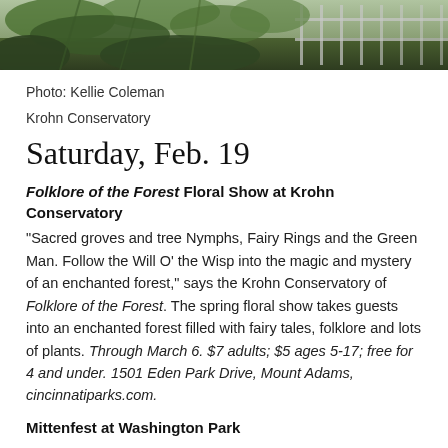[Figure (photo): Partial photo of Krohn Conservatory interior/exterior showing lush green foliage and a metal railing structure]
Photo: Kellie Coleman
Krohn Conservatory
Saturday, Feb. 19
Folklore of the Forest Floral Show at Krohn Conservatory
“Sacred groves and tree Nymphs, Fairy Rings and the Green Man. Follow the Will O’ the Wisp into the magic and mystery of an enchanted forest,” says the Krohn Conservatory of Folklore of the Forest. The spring floral show takes guests into an enchanted forest filled with fairy tales, folklore and lots of plants. Through March 6. $7 adults; $5 ages 5-17; free for 4 and under. 1501 Eden Park Drive, Mount Adams, cincinnatiparks.com.
Mittenfest at Washington Park